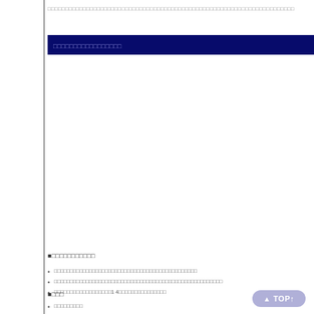□□□□□□□□□□□□□□□□□□□□□□□□□□□□□□□□□□□□□□□□□□□□□□□□□□□□
□□□□□□□□□□□□□□□□□
■□□□□□□□□□□□
□□□□□□□□□□□□□□□□□□□□□□□□□□□□□□□□□□□□□□□□
□□□□□□□□□□□□□□□□□□□□□□□□□□□□□□□□□□□□□□□□□□□□□□□□
□□□□□□□□□□□□□□□□□14□□□□□□□□□□□□□□
■□□□
□□□□□□□□□